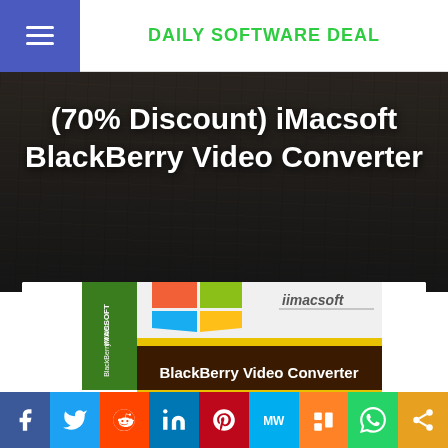DAILY SOFTWARE DEAL
(70% Discount) iMacsoft BlackBerry Video Converter
[Figure (photo): iMacsoft BlackBerry Video Converter software box product image with green spine, Windows logo, and brown banner reading BlackBerry Video Converter]
Social share buttons: Facebook, Twitter, Reddit, LinkedIn, Pinterest, MeWe, Mix, WhatsApp, Share